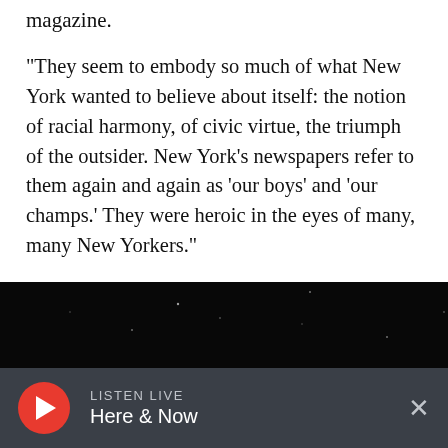magazine.
"They seem to embody so much of what New York wanted to believe about itself: the notion of racial harmony, of civic virtue, the triumph of the outsider. New York's newspapers refer to them again and again as 'our boys' and 'our champs.' They were heroic in the eyes of many, many New Yorkers."
[Figure (photo): Black and white photograph showing a group of young men, partially visible from the shoulders up, against a very dark background with small light specks.]
LISTEN LIVE Here & Now